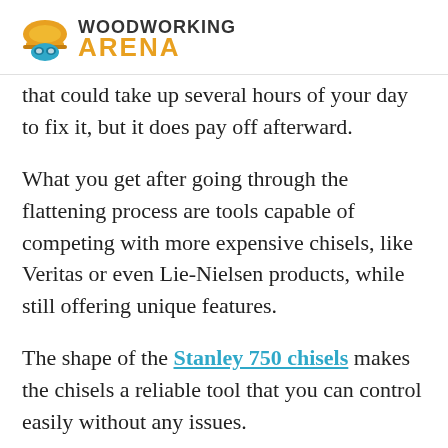Woodworking Arena
that could take up several hours of your day to fix it, but it does pay off afterward.
What you get after going through the flattening process are tools capable of competing with more expensive chisels, like Veritas or even Lie-Nielsen products, while still offering unique features.
The shape of the Stanley 750 chisels makes the chisels a reliable tool that you can control easily without any issues.
Features like the short length and the hornbeam handle provide the comfort you'll need, while also having complete control over the chisels. It is